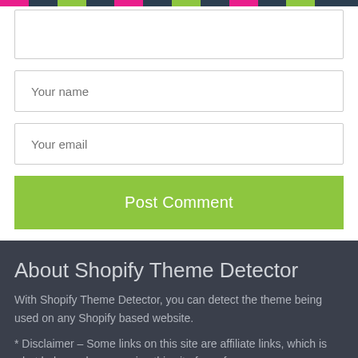[Figure (other): Colorful top navigation bar with alternating pink, dark gray, and green segments]
Your name
Your email
Post Comment
About Shopify Theme Detector
With Shopify Theme Detector, you can detect the theme being used on any Shopify based website.
* Disclaimer – Some links on this site are affiliate links, which is what helps us keep running this site free of